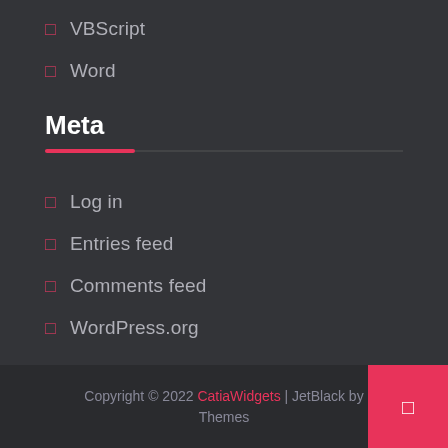VBScript
Word
Meta
Log in
Entries feed
Comments feed
WordPress.org
Copyright © 2022 CatiaWidgets | JetBlack by Themes